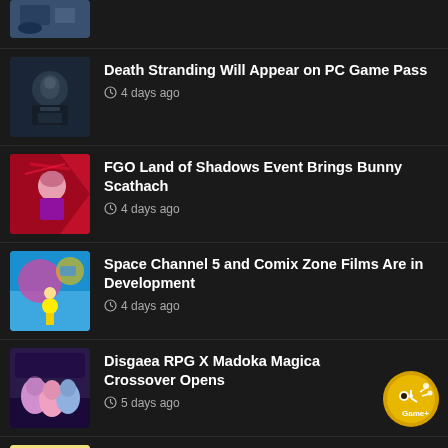[Figure (photo): Partially visible game thumbnail at top]
Death Stranding Will Appear on PC Game Pass — 4 days ago
FGO Land of Shadows Event Brings Bunny Scathach — 4 days ago
Space Channel 5 and Comix Zone Films Are in Development — 4 days ago
Disgaea RPG X Madoka Magica Crossover Opens — 5 days ago
Romancing SaGa-Saga Prefecture 2022 Collaboration Will Feature Trains